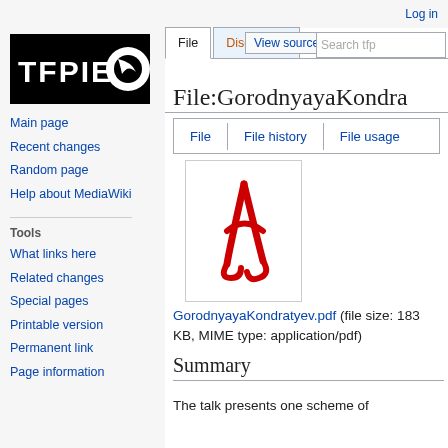Log in
[Figure (logo): TFPIE logo — white text on black background with a circular icon]
Main page
Recent changes
Random page
Help about MediaWiki
Tools
What links here
Related changes
Special pages
Printable version
Permanent link
Page information
File:GorodnyayaKondra
[Figure (other): PDF file icon — Adobe Acrobat red logo on white background]
GorodnyayaKondratyev.pdf (file size: 183 KB, MIME type: application/pdf)
Summary
The talk presents one scheme of